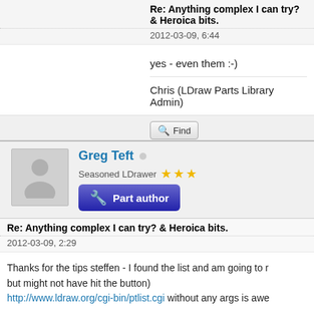Re: Anything complex I can try? & Heroica bits.
2012-03-09, 6:44
yes - even them :-)
Chris (LDraw Parts Library Admin)
Find
Greg Teft
Seasoned LDrawer
[Figure (other): Part author badge button with tools icon]
Re: Anything complex I can try? & Heroica bits.
2012-03-09, 2:29
Thanks for the tips steffen - I found the list and am going to r... but might not have hit the button)
http://www.ldraw.org/cgi-bin/ptlist.cgi without any args is awe...
- Greg